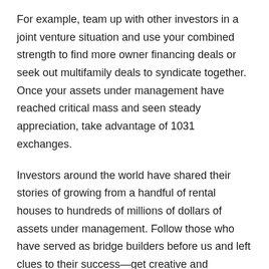For example, team up with other investors in a joint venture situation and use your combined strength to find more owner financing deals or seek out multifamily deals to syndicate together. Once your assets under management have reached critical mass and seen steady appreciation, take advantage of 1031 exchanges.
Investors around the world have shared their stories of growing from a handful of rental houses to hundreds of millions of dollars of assets under management. Follow those who have served as bridge builders before us and left clues to their success—get creative and snowball your rental portfolio today.
Share This: